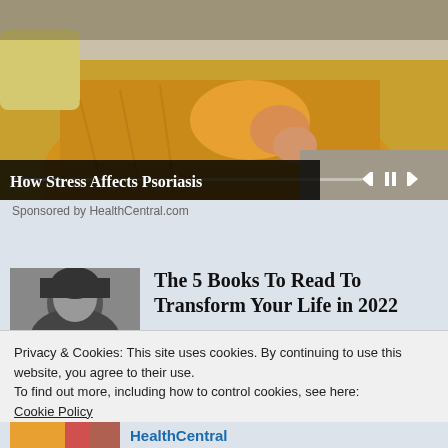[Figure (photo): Woman in yellow sweater sitting on couch holding her elbow/arm, with video playback controls overlay]
How Stress Affects Psoriasis
Sponsored by HealthCentral.com
The 5 Books To Read To Transform Your Life in 2022
Privacy & Cookies: This site uses cookies. By continuing to use this website, you agree to their use.
To find out more, including how to control cookies, see here:
Cookie Policy
Close and accept
HealthCentral